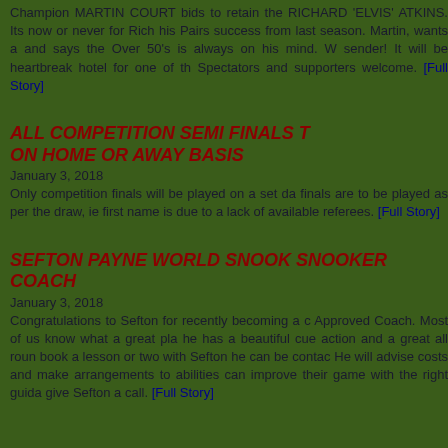Champion MARTIN COURT bids to retain the RICHARD 'ELVIS' ATKINS. Its now or never for Rich his Pairs success from last season. Martin, wants a and says the Over 50's is always on his mind. W sender! It will be heartbreak hotel for one of th Spectators and supporters welcome. [Full Story]
ALL COMPETITION SEMI FINALS T ON HOME OR AWAY BASIS
January 3, 2018
Only competition finals will be played on a set da finals are to be played as per the draw, ie first name is due to a lack of available referees. [Full Story]
SEFTON PAYNE WORLD SNOOK SNOOKER COACH
January 3, 2018
Congratulations to Sefton for recently becoming a c Approved Coach. Most of us know what a great pla he has a beautiful cue action and a great all roun book a lesson or two with Sefton he can be contac He will advise costs and make arrangements to abilities can improve their game with the right guida give Sefton a call. [Full Story]